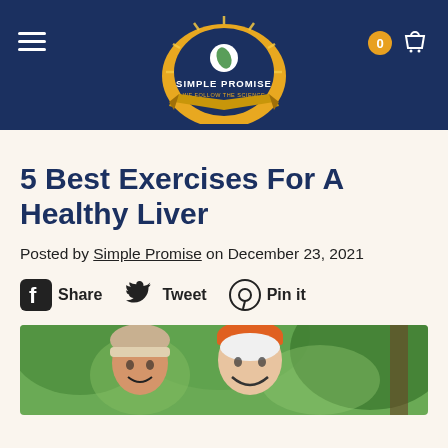[Figure (logo): Simple Promise logo — gold badge with sunburst, text 'SIMPLE PROMISE' and 'WE FOLLOW THE SCIENCE' on navy header]
5 Best Exercises For A Healthy Liver
Posted by Simple Promise on December 23, 2021
Share  Tweet  Pin it
[Figure (photo): Two older women smiling outdoors, one wearing an orange headband, green trees in background]